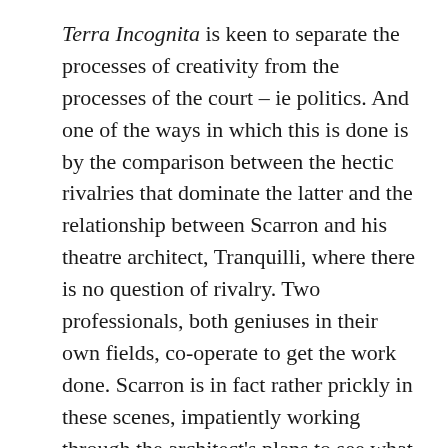Terra Incognita is keen to separate the processes of creativity from the processes of the court – ie politics. And one of the ways in which this is done is by the comparison between the hectic rivalries that dominate the latter and the relationship between Scarron and his theatre architect, Tranquilli, where there is no question of rivalry. Two professionals, both geniuses in their own fields, co-operate to get the work done. Scarron is in fact rather prickly in these scenes, impatiently working through the architect's plans to see what solutions he has proposed. No doubt it is all idealised but these scenes have great power, taking us as close as possible to the processes of creation since each of the creators has to work in co-operation and thus feel their way into the ideas of the other. The fact that this relationship is the only